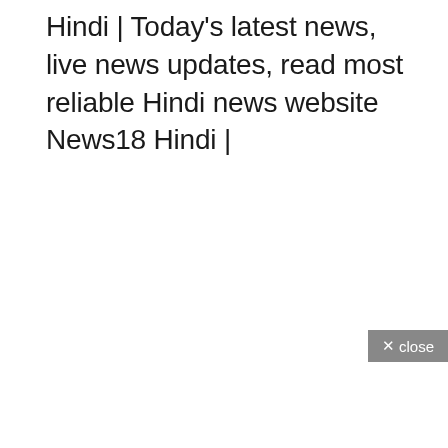Hindi | Today's latest news, live news updates, read most reliable Hindi news website News18 Hindi |
[Figure (screenshot): A grey close button with an X mark and the word 'close' in white text on a grey background]